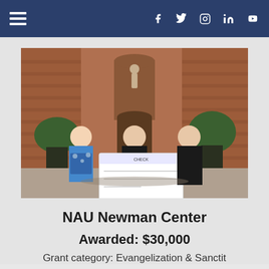Navigation bar with hamburger menu and social icons: Facebook, Twitter, Instagram, LinkedIn, YouTube
[Figure (photo): Three people standing in front of a brick building with a religious statue niche, holding a large ceremonial check. A woman in a floral dress on the left and two men in black clerical attire on the right.]
NAU Newman Center
Awarded: $30,000
Grant category: Evangelization & Sanctit